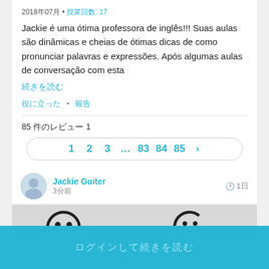2018年07月 • 授業回数: 17
Jackie é uma ótima professora de inglês!!! Suas aulas são dinâmicas e cheias de ótimas dicas de como pronunciar palavras e expressões. Após algumas aulas de conversação com esta
続きを読む
役に立った • 報告
85 件のレビュー 1
1 2 3 ... 83 84 85 ›
Jackie Guiter
3分前
🕐 1日
[Figure (photo): Graffiti street art showing smiley face drawings on a wall]
ログインして続きを読む